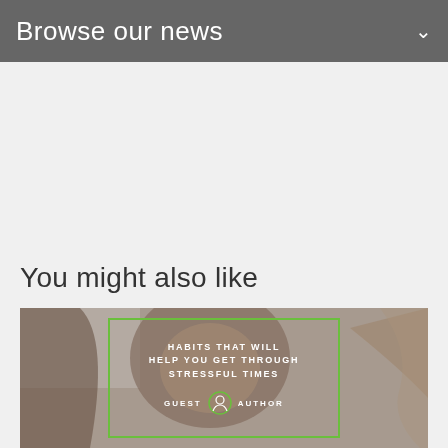Browse our news
You might also like
[Figure (photo): Photo of a woman with long brown hair covering her face with her hands, appearing stressed or upset. Over the image is a green-bordered rectangle containing bold white uppercase text reading 'HABITS THAT WILL HELP YOU GET THROUGH STRESSFUL TIMES' and below that a row with 'GUEST' text, a circular user icon, and 'AUTHOR' text.]